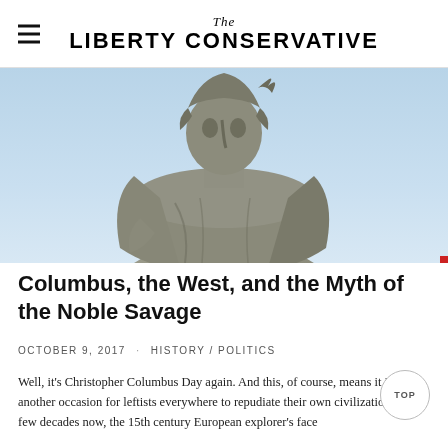The Liberty Conservative
[Figure (photo): Close-up photograph of a Christopher Columbus statue from below, against a blue sky. The stone figure is wearing period clothing and a helmet/crown, looking upward.]
Columbus, the West, and the Myth of the Noble Savage
OCTOBER 9, 2017 · HISTORY / POLITICS
Well, it's Christopher Columbus Day again. And this, of course, means it is but another occasion for leftists everywhere to repudiate their own civilization. For a few decades now, the 15th century European explorer's face